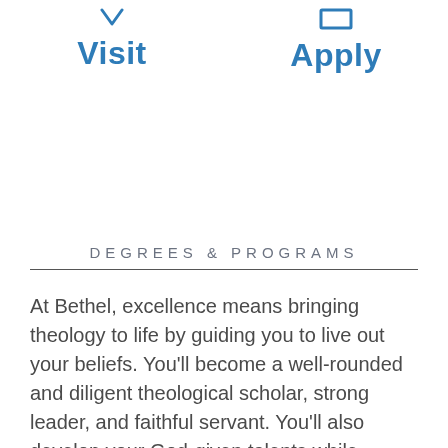[Figure (other): Two action buttons: Visit (with downward chevron icon) and Apply (with rectangle/document icon), styled in blue]
DEGREES & PROGRAMS
At Bethel, excellence means bringing theology to life by guiding you to live out your beliefs. You'll become a well-rounded and diligent theological scholar, strong leader, and faithful servant. You'll also develop your God-given talents while gaining the biblical foundation you need to discern